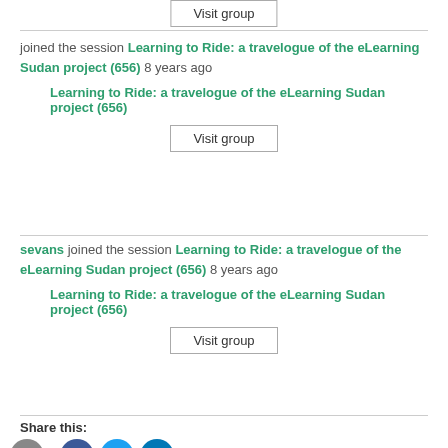Visit group
joined the session Learning to Ride: a travelogue of the eLearning Sudan project (656) 8 years ago
Learning to Ride: a travelogue of the eLearning Sudan project (656)
Visit group
sevans joined the session Learning to Ride: a travelogue of the eLearning Sudan project (656) 8 years ago
Learning to Ride: a travelogue of the eLearning Sudan project (656)
Visit group
Share this: